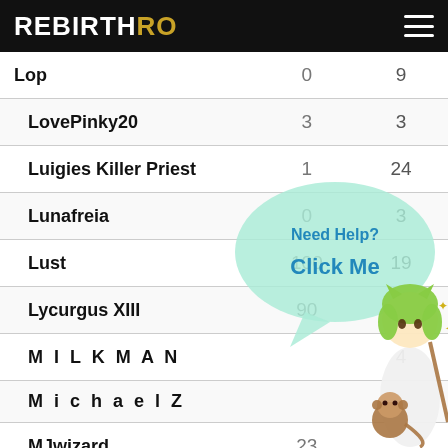REBIRTHRO
| Name | Wins | Losses |
| --- | --- | --- |
| Lop | 0 | 9 |
| LovePinky20 | 3 | 3 |
| Luigies Killer Priest | 1 | 24 |
| Lunafreia | 0 | 3 |
| Lust | 100 | 19 |
| Lycurgus XIII | 90 | 46 |
| M I L K M A N |  | 4 |
| M i c h a e l Z |  |  |
| MJwizard | 23 |  |
| MY CHAMP | 5 |  |
| MY GINX | 10 |  |
[Figure (illustration): Anime character (girl with green hair and cat ears, holding a staff, with a small monkey at her feet) and a speech bubble saying 'Need Help? Click Me']